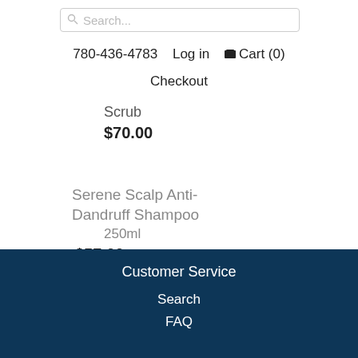Search...
780-436-4783  Log in  Cart (0)
Checkout
Scrub
$70.00
Serene Scalp Anti-Dandruff Shampoo 250ml
$57.00
Customer Service
Search
FAQ